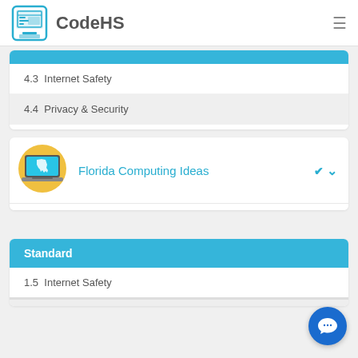CodeHS
4.3  Internet Safety
4.4  Privacy & Security
[Figure (illustration): Florida Computing Ideas course icon — laptop with Florida map graphic on screen]
Florida Computing Ideas
Standard
1.5  Internet Safety